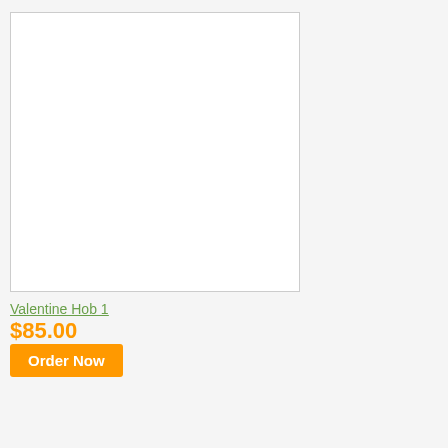[Figure (photo): Product image placeholder box for Valentine Hob 1]
Valentine Hob 1
$85.00
Order Now
[Figure (photo): Product image placeholder box (second left item)]
[Figure (photo): Product image placeholder box (top right, partial)]
$140.00
Order Now
Orchids Bunch
[Figure (photo): Product image placeholder box for Orchids Bunch]
$240.00